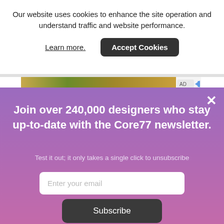Our website uses cookies to enhance the site operation and understand traffic and website performance.
Learn more.
Accept Cookies
[Figure (screenshot): Partial banner/advertisement strip with nature imagery]
×
Join over 240,000 designers who stay up-to-date with the Core77 newsletter.
Test it out; it only takes a single click to unsubscribe
Enter your email
Subscribe